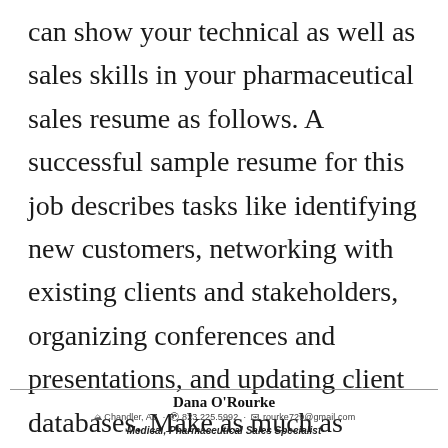can show your technical as well as sales skills in your pharmaceutical sales resume as follows. A successful sample resume for this job describes tasks like identifying new customers, networking with existing clients and stakeholders, organizing conferences and presentations, and updating client databases. Make as much as possible of the single page you have.
Dana O'Rourke · Chandler, AZ · 823.225.5992 · rourke729@gmail.com · Medical, Pharmaceutical Sales Specialist